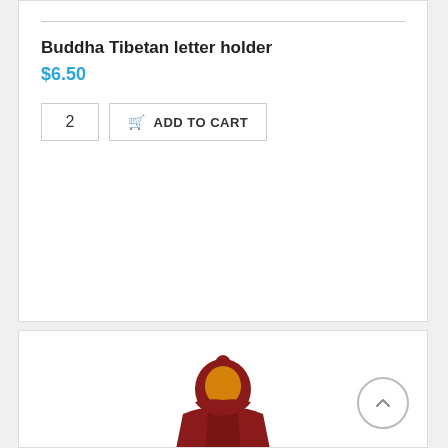Buddha Tibetan letter holder
$6.50
[Figure (screenshot): Quantity input box showing '2' and an 'ADD TO CART' button with a shopping cart icon]
[Figure (photo): Partial view of a Buddha Tibetan letter holder figurine, showing the top portion in dark red/maroon color with orange details]